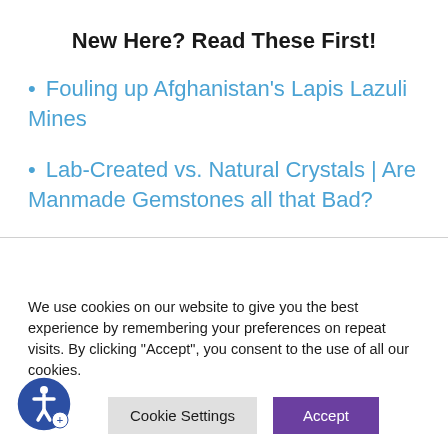New Here? Read These First!
• Fouling up Afghanistan's Lapis Lazuli Mines
• Lab-Created vs. Natural Crystals | Are Manmade Gemstones all that Bad?
We use cookies on our website to give you the best experience by remembering your preferences on repeat visits. By clicking "Accept", you consent to the use of all our cookies.